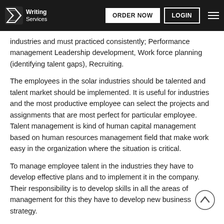Writing Services | ORDER NOW | LOGIN
industries and must practiced consistently; Performance management Leadership development, Work force planning (identifying talent gaps), Recruiting.
The employees in the solar industries should be talented and talent market should be implemented. It is useful for industries and the most productive employee can select the projects and assignments that are most perfect for particular employee. Talent management is kind of human capital management based on human resources management field that make work easy in the organization where the situation is critical.
To manage employee talent in the industries they have to develop effective plans and to implement it in the company. Their responsibility is to develop skills in all the areas of management for this they have to develop new business strategy.
Recommendations:
To improve the organizational performance of the solar industries, I recommend that they should allocate talent